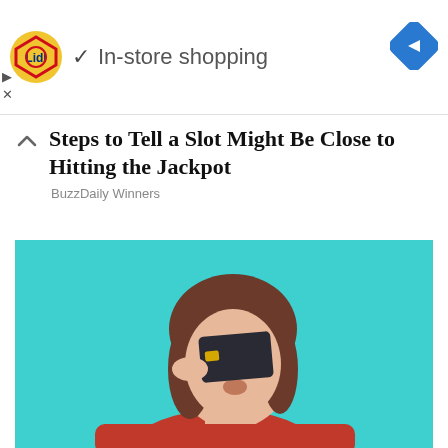[Figure (logo): Lidl logo - yellow circle with red and blue geometric shapes and Lidl text]
✓ In-store shopping
[Figure (illustration): Blue diamond-shaped navigation/directions icon with white right-pointing arrow]
Steps to Tell a Slot Might Be Close to Hitting the Jackpot
BuzzDaily Winners
[Figure (photo): Young woman in red turtleneck sweater holding a dark credit card over her eye against a teal/cyan background, making a playful expression]